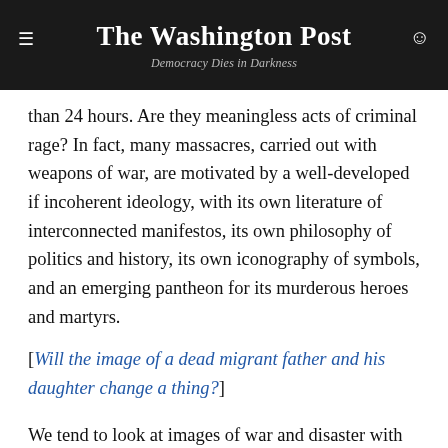The Washington Post — Democracy Dies in Darkness
than 24 hours. Are they meaningless acts of criminal rage? In fact, many massacres, carried out with weapons of war, are motivated by a well-developed if incoherent ideology, with its own literature of interconnected manifestos, its own philosophy of politics and history, its own iconography of symbols, and an emerging pantheon for its murderous heroes and martyrs.
[Will the image of a dead migrant father and his daughter change a thing?]
We tend to look at images of war and disaster with some part of the eye attuned as a tourist is attuned to